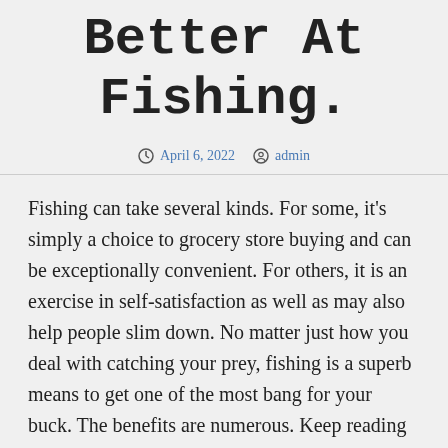Better At Fishing.
April 6, 2022  admin
Fishing can take several kinds. For some, it's simply a choice to grocery store buying and can be exceptionally convenient. For others, it is an exercise in self-satisfaction as well as may also help people slim down. No matter just how you deal with catching your prey, fishing is a superb means to get one of the most bang for your buck. The benefits are numerous. Keep reading to learn more regarding the wellness